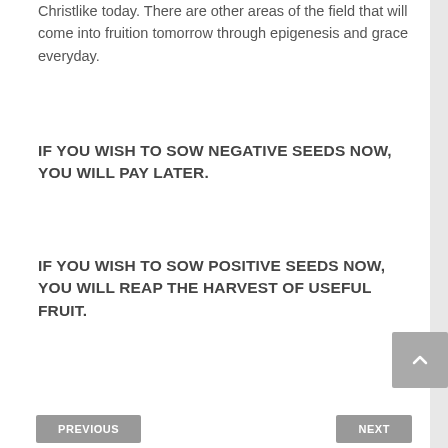Christlike today. There are other areas of the field that will come into fruition tomorrow through epigenesis and grace everyday.
IF YOU WISH TO SOW NEGATIVE SEEDS NOW, YOU WILL PAY LATER.
IF YOU WISH TO SOW POSITIVE SEEDS NOW, YOU WILL REAP THE HARVEST OF USEFUL FRUIT.
PREVIOUS   NEXT